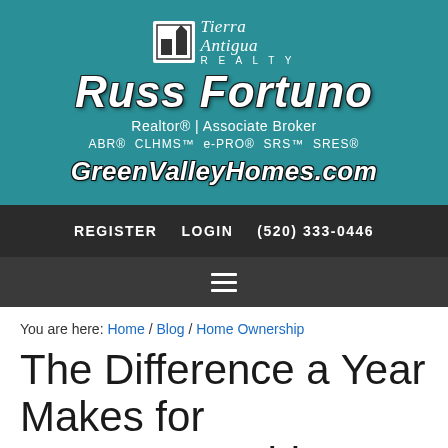[Figure (logo): Tierra Antigua Realty logo with Russ Fortuno branding on teal background]
REGISTER   LOGIN   (520) 333-0446
≡ (hamburger navigation menu icon)
You are here: Home / Blog / Home Ownership
The Difference a Year Makes for Homeownership